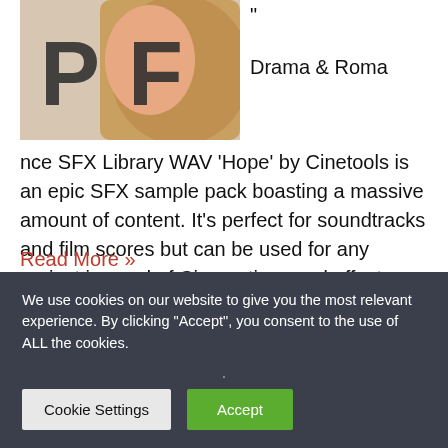[Figure (photo): A close-up photo showing letters PF, partially obscuring a person's face with blond hair, on a light background.]
" Drama & Romance SFX Library WAV 'Hope' by Cinetools is an epic SFX sample pack boasting a massive amount of content. It's perfect for soundtracks and film scores but can be used for any project in need of Cinematic sound effects. What do you get when you mix a little bit of romance with just a…
Read More »
We use cookies on our website to give you the most relevant experience. By clicking "Accept", you consent to the use of ALL the cookies.